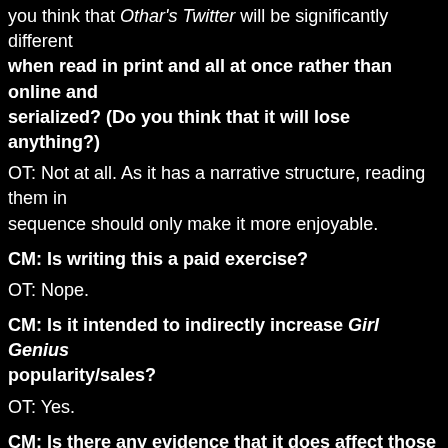you think that Othar's Twitter will be significantly different when read in print and all at once rather than online and serialized? (Do you think that it will lose anything?)
OT: Not at all. As it has a narrative structure, reading them in sequence should only make it more enjoyable.
CM: Is writing this a paid exercise?
OT: Nope.
CM: Is it intended to indirectly increase Girl Genius popularity/sales?
OT: Yes.
CM: Is there any evidence that it does affect those sales, regardless of your intent? I'm ask these questions because some people like tracking the financial health of the webfiction world just as they do the webcomics world.
OT: None.